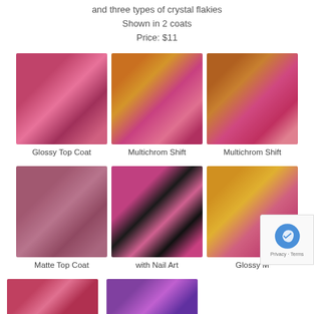and three types of crystal flakies
Shown in 2 coats
Price: $11
[Figure (photo): Nail with pink/magenta shimmer polish bottle - Glossy Top Coat]
Glossy Top Coat
[Figure (photo): Nail with multichrome gold-to-pink shift polish - Multichrom Shift]
Multichrom Shift
[Figure (photo): Nail with multichrome gold-to-pink shift polish - Multichrom Shift]
Multichrom Shift
[Figure (photo): Nail with matte pink polish - Matte Top Coat]
Matte Top Coat
[Figure (photo): Nail with pink and black nail art stamping - with Nail Art]
with Nail Art
[Figure (photo): Nail with glossy multichrome gold-pink - Glossy M[ore]]
Glossy M
[Figure (photo): Partial nail photo bottom row left]
[Figure (photo): Partial nail photo bottom row center]